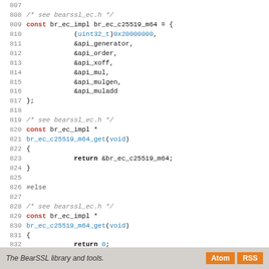[Figure (screenshot): Source code listing in C showing lines 807-835 of a BearSSL implementation file. Lines include a const struct initialization of br_ec_c25519_m64 and two versions of br_ec_c25519_m64_get function wrapped in #else/#endif preprocessor conditionals.]
The BearSSL library and tools.  Atom  RSS